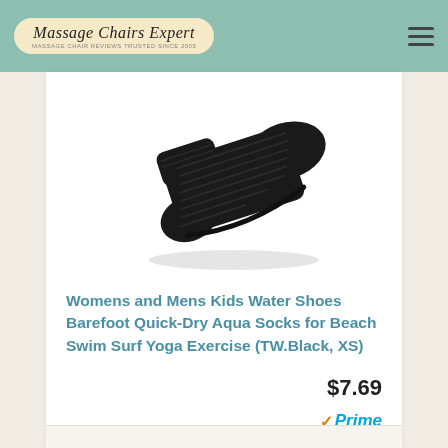Massage Chairs Expert
[Figure (photo): Black water shoe / aqua sock viewed from the side, shown on a white background. The shoe is low-profile, form-fitting, with horizontal ribbing texture and a minimal rubber sole.]
Womens and Mens Kids Water Shoes Barefoot Quick-Dry Aqua Socks for Beach Swim Surf Yoga Exercise (TW.Black, XS)
$7.69
Prime